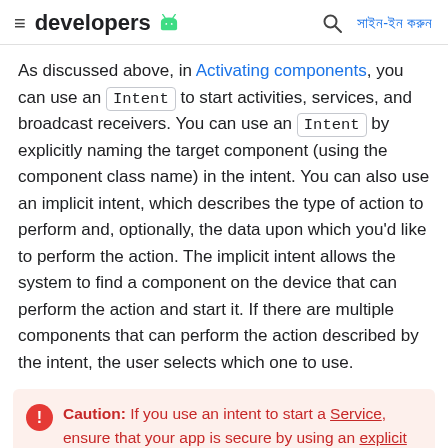≡ developers [android logo] 🔍 সাইন-ইন করুন
As discussed above, in Activating components, you can use an Intent to start activities, services, and broadcast receivers. You can use an Intent by explicitly naming the target component (using the component class name) in the intent. You can also use an implicit intent, which describes the type of action to perform and, optionally, the data upon which you'd like to perform the action. The implicit intent allows the system to find a component on the device that can perform the action and start it. If there are multiple components that can perform the action described by the intent, the user selects which one to use.
Caution: If you use an intent to start a Service, ensure that your app is secure by using an explicit intent. Using an implicit intent to start a service is a security hazard because you cannot be certain what